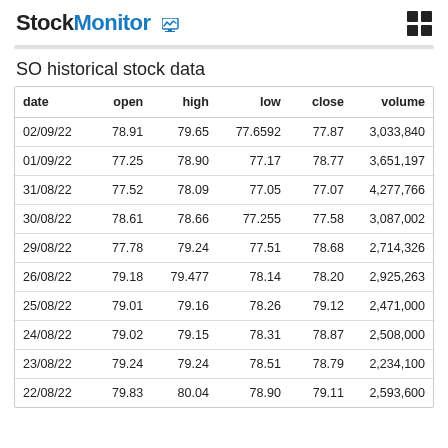StockMonitor
SO historical stock data
| date | open | high | low | close | volume |
| --- | --- | --- | --- | --- | --- |
| 02/09/22 | 78.91 | 79.65 | 77.6592 | 77.87 | 3,033,840 |
| 01/09/22 | 77.25 | 78.90 | 77.17 | 78.77 | 3,651,197 |
| 31/08/22 | 77.52 | 78.09 | 77.05 | 77.07 | 4,277,766 |
| 30/08/22 | 78.61 | 78.66 | 77.255 | 77.58 | 3,087,002 |
| 29/08/22 | 77.78 | 79.24 | 77.51 | 78.68 | 2,714,326 |
| 26/08/22 | 79.18 | 79.477 | 78.14 | 78.20 | 2,925,263 |
| 25/08/22 | 79.01 | 79.16 | 78.26 | 79.12 | 2,471,000 |
| 24/08/22 | 79.02 | 79.15 | 78.31 | 78.87 | 2,508,000 |
| 23/08/22 | 79.24 | 79.24 | 78.51 | 78.79 | 2,234,100 |
| 22/08/22 | 79.83 | 80.04 | 78.90 | 79.11 | 2,593,600 |